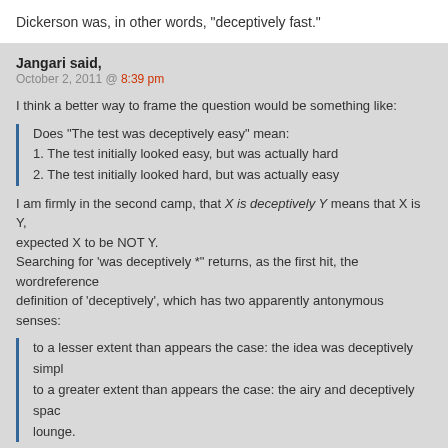Dickerson was, in other words, "deceptively fast."
Jangari said,
October 2, 2011 @ 8:39 pm
I think a better way to frame the question would be something like:
Does "The test was deceptively easy" mean:
1. The test initially looked easy, but was actually hard
2. The test initially looked hard, but was actually easy
I am firmly in the second camp, that X is deceptively Y means that X is Y, expected X to be NOT Y.
Searching for 'was deceptively *'' returns, as the first hit, the wordreference definition of 'deceptively', which has two apparently antonymous senses:
to a lesser extent than appears the case: the idea was deceptively simple to a greater extent than appears the case: the airy and deceptively spacious lounge.
I'm suspicious of their first example 'the idea was deceptively simple'. I th that the idea at first appeared complex, but on closer inspection turned o simple, in which case it was simple to a greater extent than at first appea